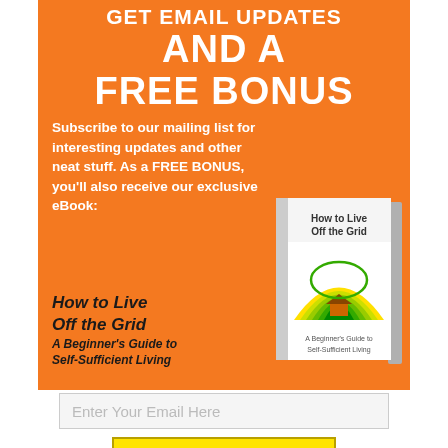GET EMAIL UPDATES AND A FREE BONUS
Subscribe to our mailing list for interesting updates and other neat stuff. As a FREE BONUS, you'll also receive our exclusive eBook:
[Figure (illustration): Book cover for 'How to Live Off the Grid: A Beginner's Guide to Self-Sufficient Living' — white book with green/yellow arc design and a house icon]
How to Live Off the Grid
A Beginner's Guide to Self-Sufficient Living
Enter Your Email Here
Sign Up Now